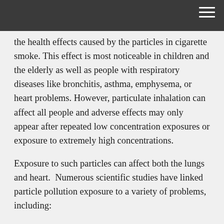the health effects caused by the particles in cigarette smoke. This effect is most noticeable in children and the elderly as well as people with respiratory diseases like bronchitis, asthma, emphysema, or heart problems. However, particulate inhalation can affect all people and adverse effects may only appear after repeated low concentration exposures or exposure to extremely high concentrations.
Exposure to such particles can affect both the lungs and heart.  Numerous scientific studies have linked particle pollution exposure to a variety of problems, including:
premature death in people with heart or lung disease